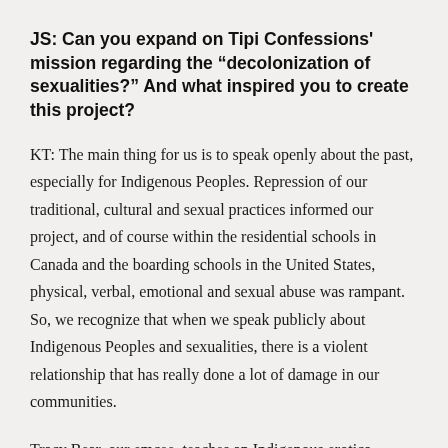JS: Can you expand on Tipi Confessions' mission regarding the “decolonization of sexualities?” And what inspired you to create this project?
KT: The main thing for us is to speak openly about the past, especially for Indigenous Peoples. Repression of our traditional, cultural and sexual practices informed our project, and of course within the residential schools in Canada and the boarding schools in the United States, physical, verbal, emotional and sexual abuse was rampant. So, we recognize that when we speak publicly about Indigenous Peoples and sexualities, there is a violent relationship that has really done a lot of damage in our communities.
Tracy Bear, our emcee, teaches an Indigenous erotica